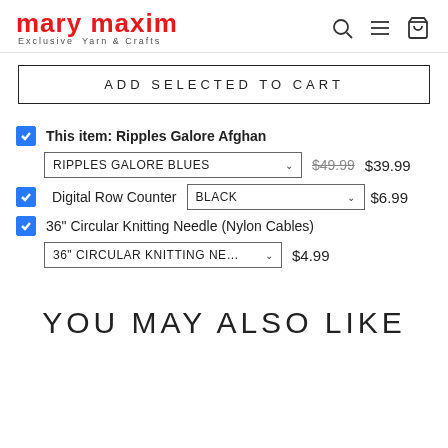mary maxim — Exclusive Yarn & Crafts
ADD SELECTED TO CART
This item: Ripples Galore Afghan — RIPPLES GALORE BLUES — $49.99 $39.99
Digital Row Counter — BLACK — $6.99
36" Circular Knitting Needle (Nylon Cables) — 36" CIRCULAR KNITTING NE... — $4.99
YOU MAY ALSO LIKE